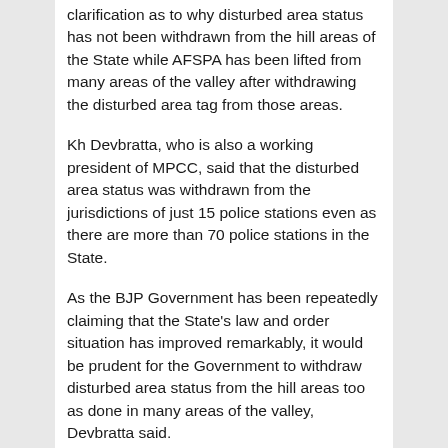clarification as to why disturbed area status has not been withdrawn from the hill areas of the State while AFSPA has been lifted from many areas of the valley after withdrawing the disturbed area tag from those areas.
Kh Devbratta, who is also a working president of MPCC, said that the disturbed area status was withdrawn from the jurisdictions of just 15 police stations even as there are more than 70 police stations in the State.
As the BJP Government has been repeatedly claiming that the State's law and order situation has improved remarkably, it would be prudent for the Government to withdraw disturbed area status from the hill areas too as done in many areas of the valley, Devbratta said.
He said that Congress has been demanding lifting of disturbed area status from the hill areas too in line with the clamour of many civil society organisations and one political party which is a partner of the BJP Government.